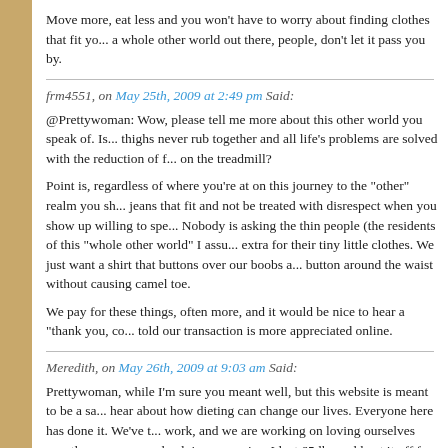Move more, eat less and you won't have to worry about finding clothes that fit yo... a whole other world out there, people, don't let it pass you by.
frm4551, on May 25th, 2009 at 2:49 pm Said:
@Prettywoman: Wow, please tell me more about this other world you speak of. Is... thighs never rub together and all life's problems are solved with the reduction of f... on the treadmill?
Point is, regardless of where you're at on this journey to the "other" realm you sh... jeans that fit and not be treated with disrespect when you show up willing to spe... Nobody is asking the thin people (the residents of this "whole other world" I assu... extra for their tiny little clothes. We just want a shirt that buttons over our boobs a... button around the waist without causing camel toe.
We pay for these things, often more, and it would be nice to hear a "thank you, co... told our transaction is more appreciated online.
Meredith, on May 26th, 2009 at 9:03 am Said:
Prettywoman, while I'm sure you meant well, but this website is meant to be a sa... hear about how dieting can change our lives. Everyone here has done it. We've t... work, and we are working on loving ourselves exactly as we are, and valuing our... size. I lost 65 lbs and kept it off for over four years, but am gaining it back now. I'...